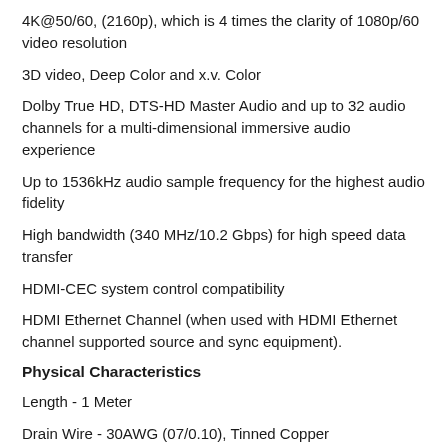4K@50/60, (2160p), which is 4 times the clarity of 1080p/60 video resolution
3D video, Deep Color and x.v. Color
Dolby True HD, DTS-HD Master Audio and up to 32 audio channels for a multi-dimensional immersive audio experience
Up to 1536kHz audio sample frequency for the highest audio fidelity
High bandwidth (340 MHz/10.2 Gbps) for high speed data transfer
HDMI-CEC system control compatibility
HDMI Ethernet Channel (when used with HDMI Ethernet channel supported source and sync equipment).
Physical Characteristics
Length - 1 Meter
Drain Wire - 30AWG (07/0.10), Tinned Copper
Foil Shield - Aluminum Foil, 100% Coverage